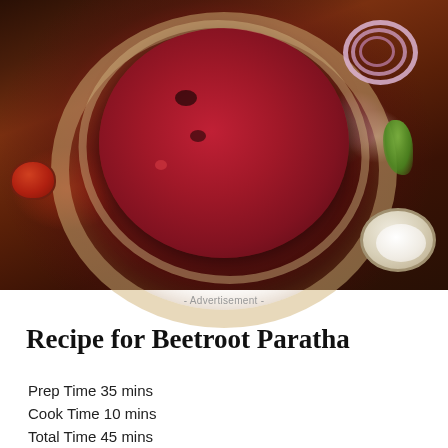[Figure (photo): Beetroot paratha (Indian flatbread) with deep red/pink color served on a plate lined with parchment paper, accompanied by sliced red onions, fresh coriander, white dipping sauce, and red chutney on a wooden table]
- Advertisement -
Recipe for Beetroot Paratha
Prep Time 35 mins
Cook Time 10 mins
Total Time 45 mins